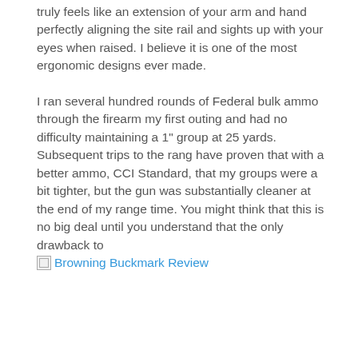truly feels like an extension of your arm and hand perfectly aligning the site rail and sights up with your eyes when raised. I believe it is one of the most ergonomic designs ever made.
I ran several hundred rounds of Federal bulk ammo through the firearm my first outing and had no difficulty maintaining a 1" group at 25 yards. Subsequent trips to the rang have proven that with a better ammo, CCI Standard, that my groups were a bit tighter, but the gun was substantially cleaner at the end of my range time. You might think that this is no big deal until you understand that the only drawback to
[Figure (other): Broken image placeholder with link text 'Browning Buckmark Review']